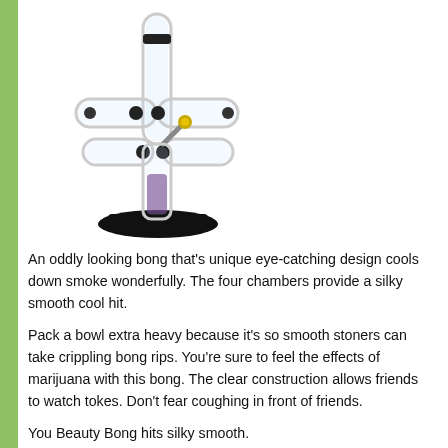[Figure (photo): A transparent glass multi-chamber bong with a black base, featuring four cylindrical chambers connected horizontally, with a gold-tipped bowl piece and a tall vertical neck tube.]
An oddly looking bong that’s unique eye-catching design cools down smoke wonderfully. The four chambers provide a silky smooth cool hit.
Pack a bowl extra heavy because it’s so smooth stoners can take crippling bong rips. You’re sure to feel the effects of marijuana with this bong. The clear construction allows friends to watch tokes. Don’t fear coughing in front of friends.
You Beauty Bong hits silky smooth.
You Beauty doubles the smoke cooling space with four chambers for your